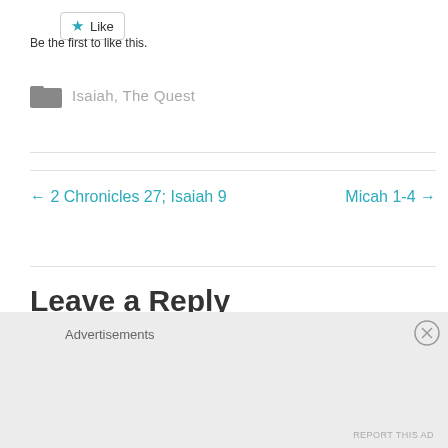[Figure (other): Like button with blue star icon]
Be the first to like this.
Isaiah, The Quest
← 2 Chronicles 27; Isaiah 9
Micah 1-4 →
Leave a Reply
Advertisements